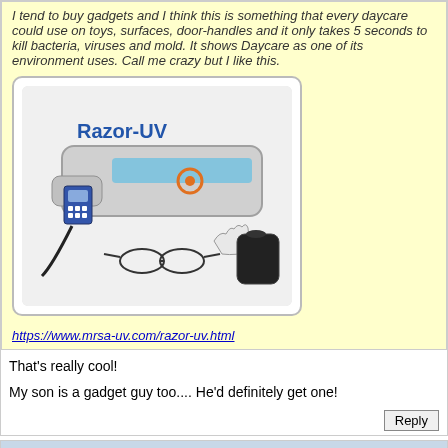I tend to buy gadgets and I think this is something that every daycare could use on toys, surfaces, door-handles and it only takes 5 seconds to kill bacteria, viruses and mold. It shows Daycare as one of its environment uses. Call me crazy but I like this.
[Figure (photo): Product image of Razor-UV device with accessories including glasses, gloves and carrying case, with brand name 'Razor-UV' in blue text]
https://www.mrsa-uv.com/razor-uv.html
That's really cool!

My son is a gadget guy too.... He'd definitely get one!
Ariana 04:23 PM 03-06-2020
Everyone should be using UV light absolutely!

Has it been proven to kill Covid19?